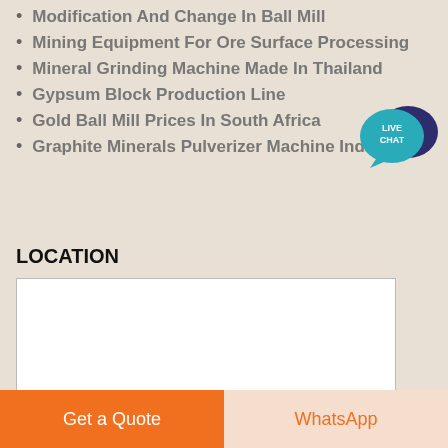Modification And Change In Ball Mill
Mining Equipment For Ore Surface Processing
Mineral Grinding Machine Made In Thailand
Gypsum Block Production Line
Gold Ball Mill Prices In South Africa
Graphite Minerals Pulverizer Machine India
[Figure (illustration): Live Chat badge with speech bubble icon in teal/dark blue colors with text LIVE CHAT]
LOCATION
[Figure (map): Embedded map iframe placeholder showing white box with border]
Get a Quote
WhatsApp